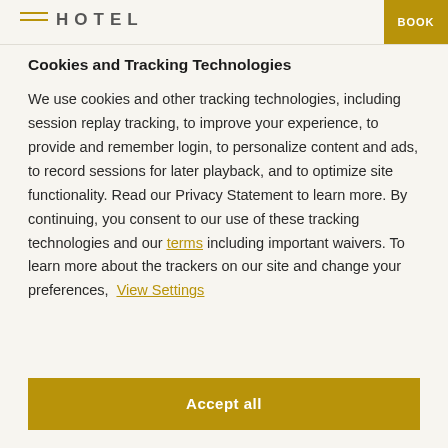HOTEL  BOOK
Cookies and Tracking Technologies
We use cookies and other tracking technologies, including session replay tracking, to improve your experience, to provide and remember login, to personalize content and ads, to record sessions for later playback, and to optimize site functionality. Read our Privacy Statement to learn more. By continuing, you consent to our use of these tracking technologies and our terms including important waivers. To learn more about the trackers on our site and change your preferences,  View Settings
Accept all